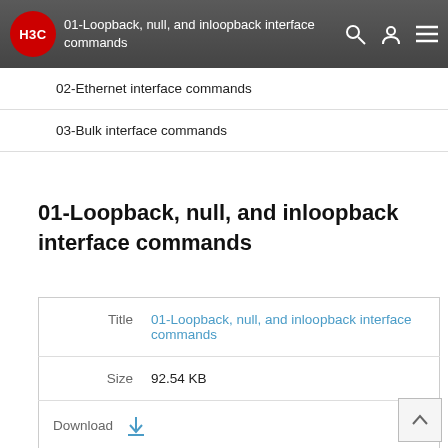01-Loopback, null, and inloopback interface commands
02-Ethernet interface commands
03-Bulk interface commands
01-Loopback, null, and inloopback interface commands
|  |  |
| --- | --- |
| Title | 01-Loopback, null, and inloopback interface commands |
| Size | 92.54 KB |
| Download | ↓ |